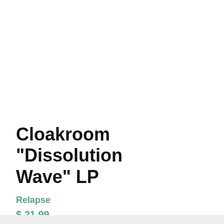Cloakroom "Dissolution Wave" LP
Relapse
$ 21.99